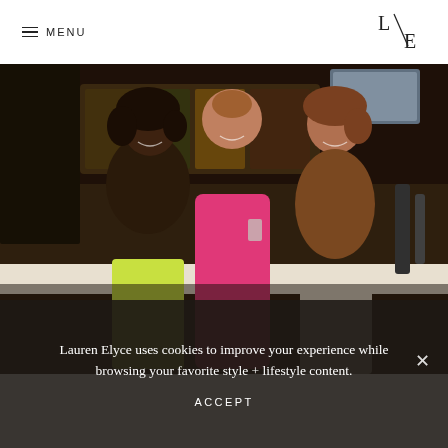≡ MENU
[Figure (logo): L/E logo — stylized letters L and E separated by a diagonal slash]
[Figure (photo): Three women posing together at a bar, smiling. Left woman wears a black top and yellow skirt. Center woman wears a pink dress and holds a drink. Right woman wears a brown top and white skirt.]
Lauren Elyce uses cookies to improve your experience while browsing your favorite style + lifestyle content.
ACCEPT